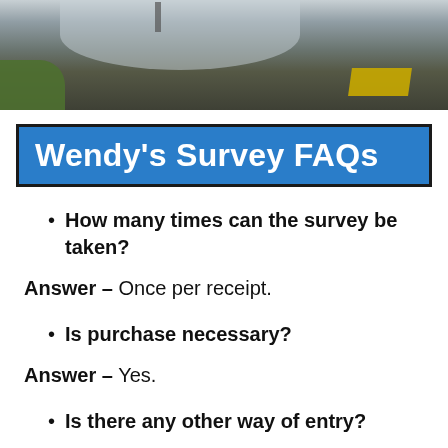[Figure (photo): Aerial or overhead photo of a Wendy's restaurant parking lot/drive-thru area with road markings and some green landscaping visible.]
Wendy's Survey FAQs
How many times can the survey be taken?
Answer – Once per receipt.
Is purchase necessary?
Answer – Yes.
Is there any other way of entry?
Answer –